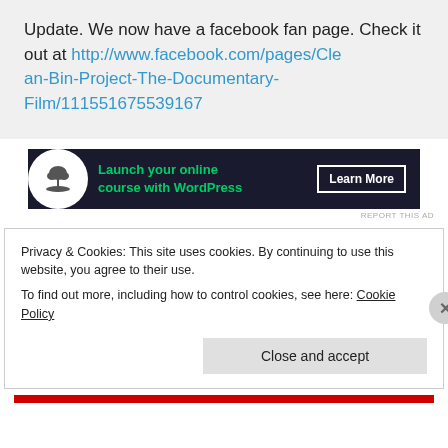Update. We now have a facebook fan page. Check it out at http://www.facebook.com/pages/Clean-Bin-Project-The-Documentary-Film/111551675539167
[Figure (other): Advertisement banner: dark navy background with bonsai tree icon, green text 'Launch your online course with WordPress', white 'Learn More' button]
REPORT THIS AD
Privacy & Cookies: This site uses cookies. By continuing to use this website, you agree to their use.
To find out more, including how to control cookies, see here: Cookie Policy
Close and accept